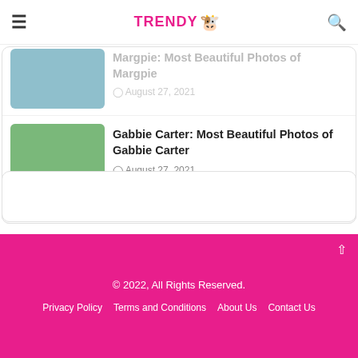TRENDY [logo] — hamburger menu and search icon
Margpie: Most Beautiful Photos of Margpie
August 27, 2021
Gabbie Carter: Most Beautiful Photos of Gabbie Carter
August 27, 2021
Brianna Beach: Most Beautiful Photos of Brianna Beach
August 27, 2021
© 2022, All Rights Reserved. | Privacy Policy | Terms and Conditions | About Us | Contact Us